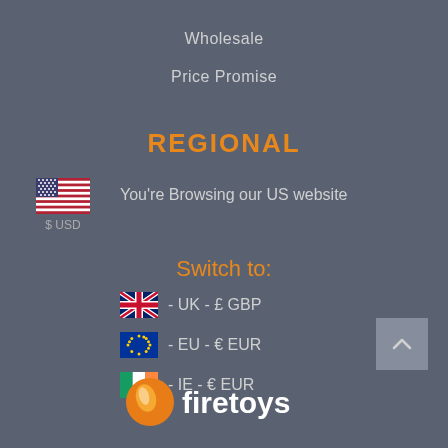Wholesale
Price Promise
REGIONAL
[Figure (illustration): US flag icon with $ USD label below]
You're Browsing our US website
Switch to:
🇬🇧 - UK - £ GBP
🇪🇺 - EU - € EUR
🇮🇪 - IE - € EUR
[Figure (logo): Firetoys logo with orange circle/flame icon and white firetoys wordmark]